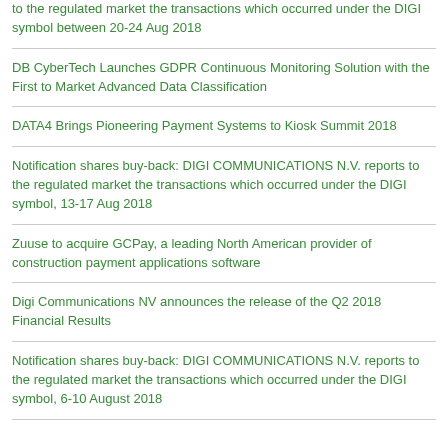to the regulated market the transactions which occurred under the DIGI symbol between 20-24 Aug 2018
DB CyberTech Launches GDPR Continuous Monitoring Solution with the First to Market Advanced Data Classification
DATA4 Brings Pioneering Payment Systems to Kiosk Summit 2018
Notification shares buy-back: DIGI COMMUNICATIONS N.V. reports to the regulated market the transactions which occurred under the DIGI symbol, 13-17 Aug 2018
Zuuse to acquire GCPay, a leading North American provider of construction payment applications software
Digi Communications NV announces the release of the Q2 2018 Financial Results
Notification shares buy-back: DIGI COMMUNICATIONS N.V. reports to the regulated market the transactions which occurred under the DIGI symbol, 6-10 August 2018